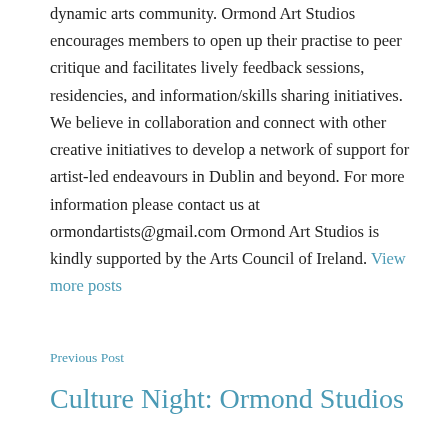dynamic arts community. Ormond Art Studios encourages members to open up their practise to peer critique and facilitates lively feedback sessions, residencies, and information/skills sharing initiatives. We believe in collaboration and connect with other creative initiatives to develop a network of support for artist-led endeavours in Dublin and beyond. For more information please contact us at ormondartists@gmail.com Ormond Art Studios is kindly supported by the Arts Council of Ireland. View more posts
Previous Post
Culture Night: Ormond Studios